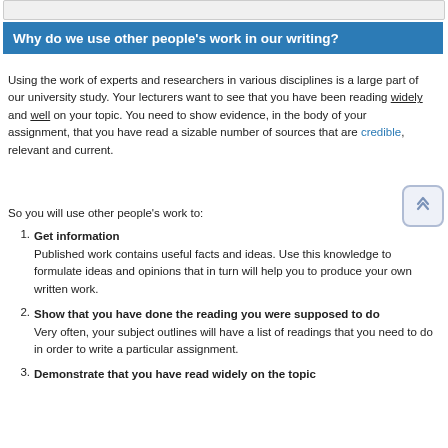Why do we use other people's work in our writing?
Using the work of experts and researchers in various disciplines is a large part of our university study. Your lecturers want to see that you have been reading widely and well on your topic. You need to show evidence, in the body of your assignment, that you have read a sizable number of sources that are credible, relevant and current.
So you will use other people's work to:
Get information
Published work contains useful facts and ideas. Use this knowledge to formulate ideas and opinions that in turn will help you to produce your own written work.
Show that you have done the reading you were supposed to do
Very often, your subject outlines will have a list of readings that you need to do in order to write a particular assignment.
Demonstrate that you have read widely on the topic